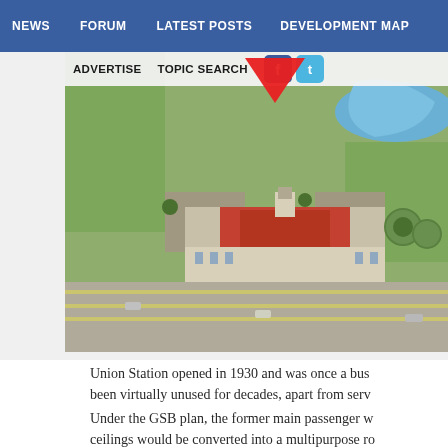NEWS   FORUM   LATEST POSTS   DEVELOPMENT MAP
ADVERTISE   TOPIC SEARCH
[Figure (photo): Aerial photograph of Union Station building with red tile roof, surrounded by parking lots, highways, and a river/park area. A red arrow overlaid points to the main station building. Facebook and Twitter social media icons visible in upper left of photo.]
Union Station opened in 1930 and was once a bus been virtually unused for decades, apart from serv deal with the city, COTPA will remain as a tenant f
Under the GSB plan, the former main passenger w ceilings would be converted into a multipurpose ro of the original structure and design elements are s floors throughout much of the space